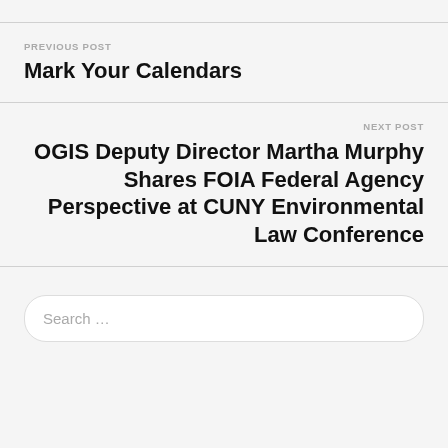PREVIOUS POST
Mark Your Calendars
NEXT POST
OGIS Deputy Director Martha Murphy Shares FOIA Federal Agency Perspective at CUNY Environmental Law Conference
Search …